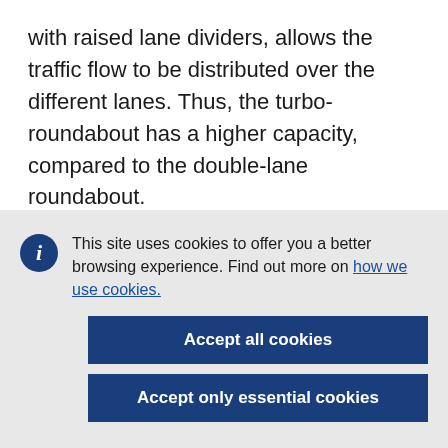with raised lane dividers, allows the traffic flow to be distributed over the different lanes. Thus, the turbo-roundabout has a higher capacity, compared to the double-lane roundabout.
▶ The turbo roundabout answers three problems of the double-lane roundabout:
This site uses cookies to offer you a better browsing experience. Find out more on how we use cookies.
Accept all cookies
Accept only essential cookies